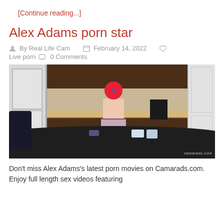[Continue reading...]
Alex Adams porn star
By Real Life Cam   February 14, 2022   Live porn   0 Comments
[Figure (photo): Kitchen scene photo showing a person standing at a kitchen counter, viewed from behind, wearing pink shorts. A dining table is in the foreground. Watermark reads camarads.com.]
Don't miss Alex Adams's latest porn movies on Camarads.com. Enjoy full length sex videos featuring